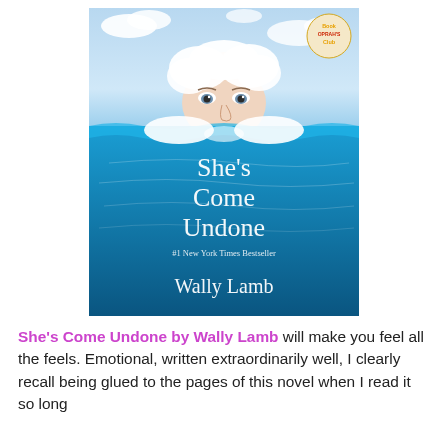[Figure (illustration): Book cover of 'She's Come Undone' by Wally Lamb. A woman's face is partially submerged in bright blue ocean water with white clouds/foam around her head. The title 'She's Come Undone' is written in elegant white script, with '#1 New York Times Bestseller' below it and 'Wally Lamb' as the author name. An 'Oprah's Book Club' badge appears in the top right corner of the cover.]
She's Come Undone by Wally Lamb will make you feel all the feels. Emotional, written extraordinarily well, I clearly recall being glued to the pages of this novel when I read it so long